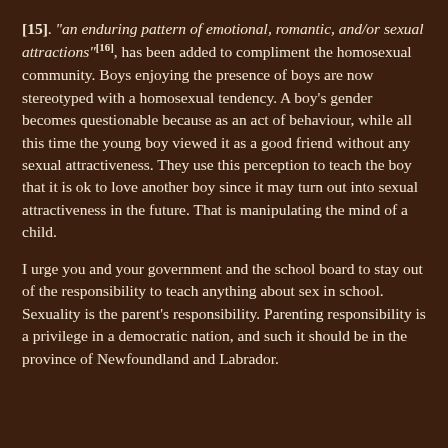[15]. "an enduring pattern of emotional, romantic, and/or sexual attractions"[16], has been added to compliment the homosexual community. Boys enjoying the presence of boys are now stereotyped with a homosexual tendency. A boy's gender becomes questionable because as an act of behaviour, while all this time the young boy viewed it as a good friend without any sexual attractiveness. They use this perception to teach the boy that it is ok to love another boy since it may turn out into sexual attractiveness in the future. That is manipulating the mind of a child.
I urge you and your government and the school board to stay out of the responsibility to teach anything about sex in school. Sexuality is the parent's responsibility. Parenting responsibility is a privilege in a democratic nation, and such it should be in the province of Newfoundland and Labrador.